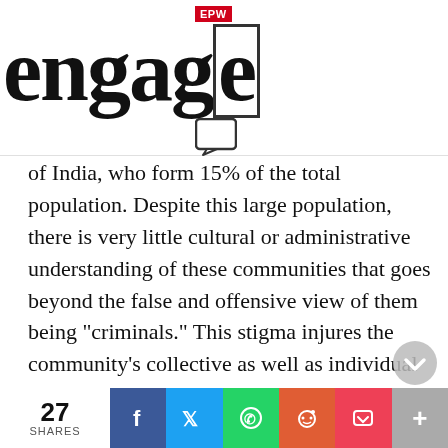EPW engage
of India, who form 15% of the total population. Despite this large population, there is very little cultural or administrative understanding of these communities that goes beyond the false and offensive view of them being “criminals.” This stigma injures the community’s collective as well as individual mental dignity time and again—be it in the way police arbitrarily pick-up NT-DNT young men or force them to appear before them periodically (Dhaka
27 SHARES | Facebook | Twitter | WhatsApp | Reddit | Pocket | +